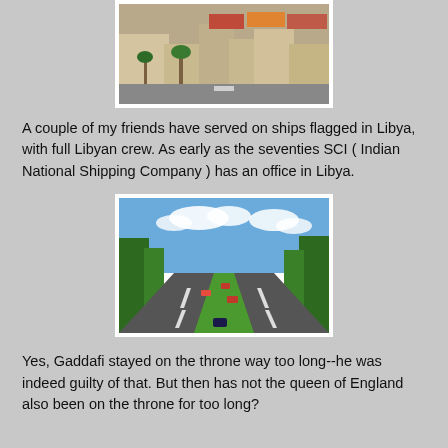[Figure (photo): Aerial view of a Libyan town with palm trees and colorful shipping containers or rooftop structures.]
A couple of my friends have served on ships flagged in Libya, with full Libyan crew. As early as the seventies SCI ( Indian National Shipping Company ) has an office in Libya.
[Figure (photo): A wide dual-carriageway highway with cars, lined by green trees under a blue sky with clouds.]
Yes, Gaddafi stayed on the throne way too long--he was indeed guilty of that. But then has not the queen of England also been on the throne for too long?